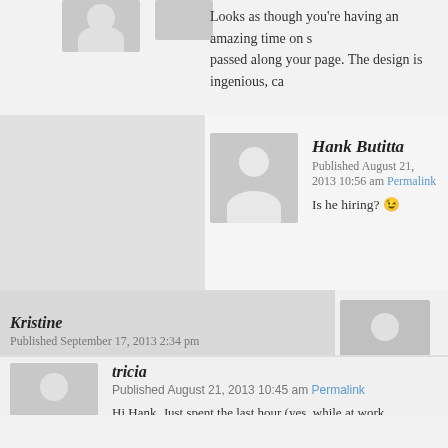Looks as though you're having an amazing time on s... passed along your page. The design is ingenious, ca...
Hank Butitta
Published August 21, 2013 10:56 am Permalink
Is he hiring? 😉
Kristine
Published September 17, 2013 2:34 pm
Looking for an Interior Designer at t...
tricia
Published August 21, 2013 10:45 am Permalink
Hi Hank. Just spent the last hour (yes, while at work... the fun! Here is the link to the article that I stumbl... http://abcnews.go.com/blogs/lifestyle/2013/08/che...